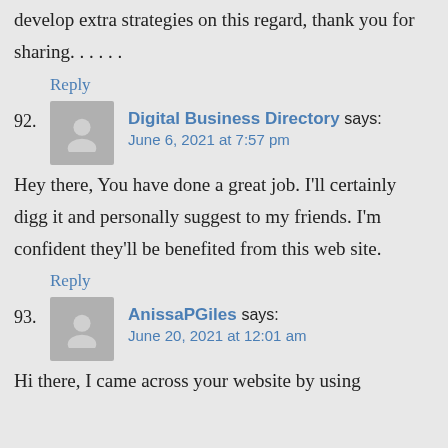develop extra strategies on this regard, thank you for sharing. . . . . .
Reply
92. Digital Business Directory says:
June 6, 2021 at 7:57 pm
Hey there, You have done a great job. I'll certainly digg it and personally suggest to my friends. I'm confident they'll be benefited from this web site.
Reply
93. AnissaPGiles says:
June 20, 2021 at 12:01 am
Hi there, I came across your website by using